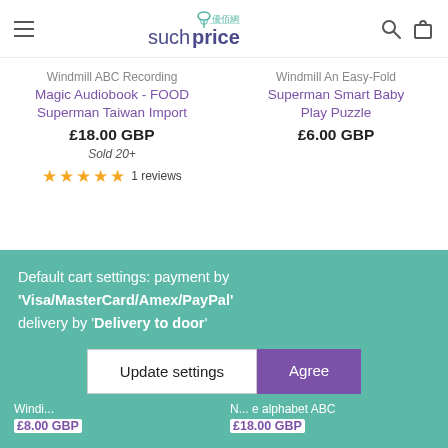suchprice
Windmill ABC Recording Magic Audiobook - FOOD Superman Taiwan Import
£18.00 GBP
Sold 20+
★★★★★ 1 reviews
Windmill An Easy-Fold Superman Smart Baby Play Puzzle
£6.00 GBP
Default cart settings: payment by 'Visa/MasterCard/Amex/PayPal' delivery by 'Delivery to door'
Update settings
Agree
Windi... £8.00 GBP
N...e alphabet ABC £18.00 GBP